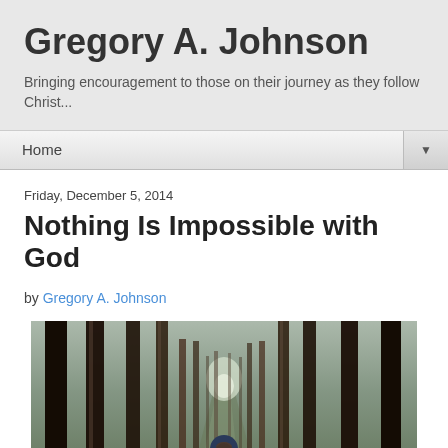Gregory A. Johnson
Bringing encouragement to those on their journey as they follow Christ...
Home ▼
Friday, December 5, 2014
Nothing Is Impossible with God
by Gregory A. Johnson
[Figure (photo): Person in dark hoodie standing in a dense pine forest, viewed from behind, looking down a long path between tall trees]